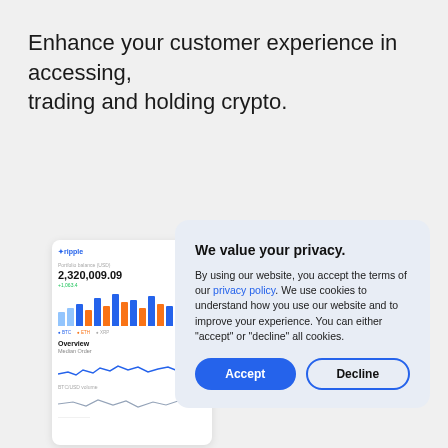Enhance your customer experience in accessing, trading and holding crypto.
[Figure (screenshot): Mobile/web app screenshot showing a cryptocurrency dashboard with balance 2,320,009.09, a bar chart with blue and orange bars, Overview section, Median Order section with a line chart, and BTC/USD Volume section with a wave line.]
We value your privacy. By using our website, you accept the terms of our privacy policy. We use cookies to understand how you use our website and to improve your experience. You can either "accept" or "decline" all cookies.